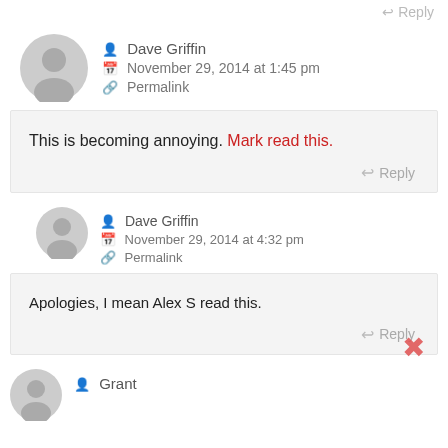↩ Reply
Dave Griffin
November 29, 2014 at 1:45 pm
Permalink
This is becoming annoying. Mark read this.
↩ Reply
Dave Griffin
November 29, 2014 at 4:32 pm
Permalink
Apologies, I mean Alex S read this.
↩ Reply
Grant